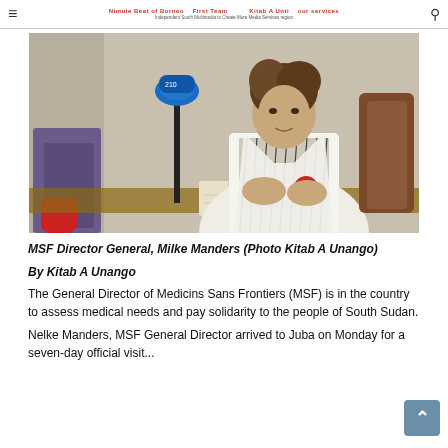MSF South Sudan news website header
[Figure (photo): MSF Director General Milke Manders sitting at a desk speaking into a microphone, wearing a white MSF vest over a striped shirt, with an open notebook in front of her.]
MSF Director General, Milke Manders (Photo Kitab A Unango)
By Kitab A Unango
The General Director of Medicins Sans Frontiers (MSF) is in the country to assess medical needs and pay solidarity to the people of South Sudan.
Nelke Manders, MSF General Director arrived to Juba on Monday for a seven-day official visit...